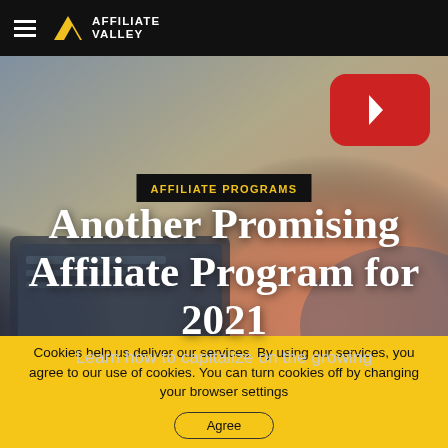Affiliate Valley
[Figure (screenshot): Hero image showing a laptop and hand with YouTube play button icon overlay, with blurred background]
AFFILIATE PROGRAMS
Another Promising Affiliate Program for 2021
Learn how to capitalize on the growing
Cookies help us deliver our services. By using our services, you agree to our use of cookies. You can turn cookies off by changing your browser settings
Agree